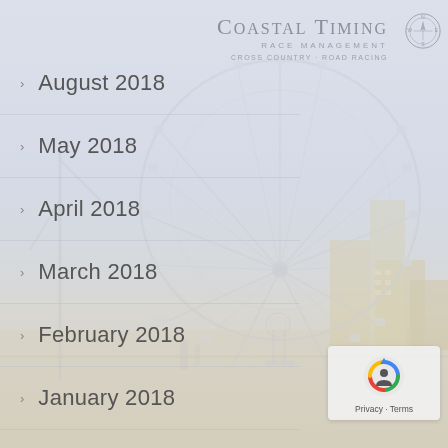[Figure (logo): Coastal Timing Race Management logo with compass rose icon, text reads COASTAL TIMING RACE MANAGEMENT CROSS COUNTRY · ROAD RACING]
[Figure (photo): Background photo of a coastal city skyline featuring a large Ferris wheel and buildings, muted/washed out tones]
August 2018
May 2018
April 2018
March 2018
February 2018
January 2018
December 2017
November 2017
October 2017
[Figure (other): Google reCAPTCHA badge with privacy and terms links]